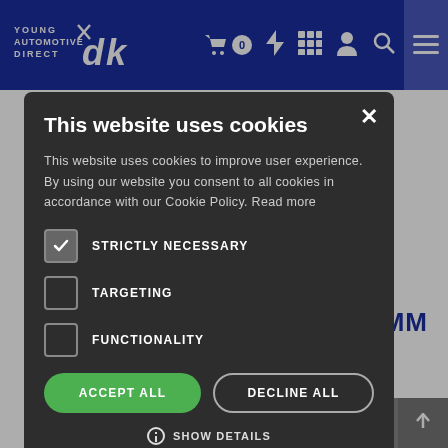Young Automotive Direct - Navigation bar with logo and icons
[Figure (screenshot): Cookie consent modal dialog on Young Automotive Direct website. Modal has dark background with title 'This website uses cookies', body text, checkboxes for STRICTLY NECESSARY (checked), TARGETING (unchecked), FUNCTIONALITY (unchecked), ACCEPT ALL and DECLINE ALL buttons, and SHOW DETAILS option.]
Stock Code: 07-50C4